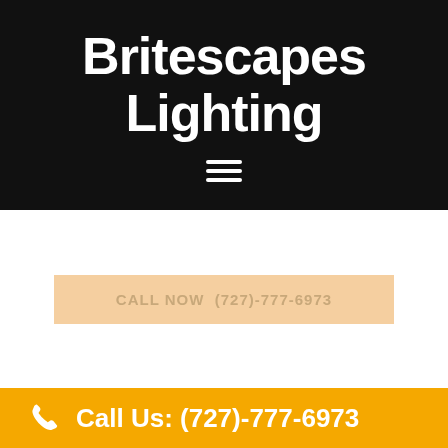Britescapes Lighting
[Figure (other): Hamburger menu icon (three horizontal white lines)]
CALL NOW  (727)-777-6973
Call Us: (727)-777-6973